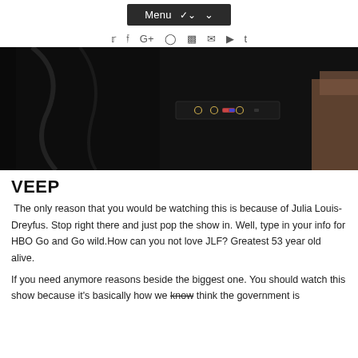Menu
[Figure (photo): Dark close-up photograph of a black fabric garment with pocket details and small gold button/stud accents]
VEEP
The only reason that you would be watching this is because of Julia Louis-Dreyfus. Stop right there and just pop the show in. Well, type in your info for HBO Go and Go wild.How can you not love JLF? Greatest 53 year old alive.
If you need anymore reasons beside the biggest one. You should watch this show because it's basically how we know think the government is